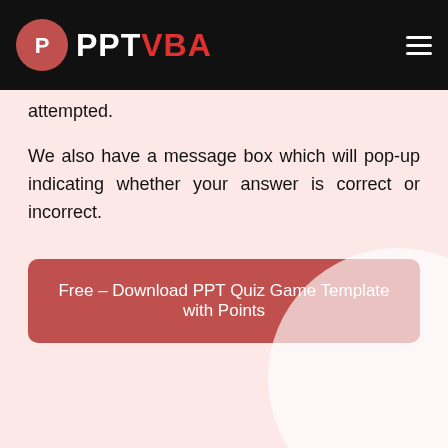PPT VBA
attempted.
We also have a message box which will pop-up indicating whether your answer is correct or incorrect.
Free – Download PPT Quiz Game Template with Points